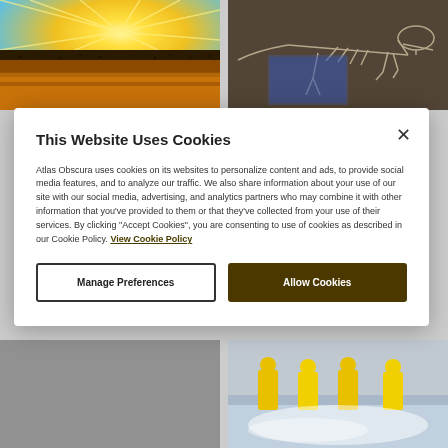[Figure (photo): Colorful landscape painting with yellow sunburst rays over rocky terrain with scattered figures]
[Figure (photo): Dinosaur skeleton on display in a museum setting with a screen or display behind it]
[Figure (photo): Gray blurred background image, partially obscured]
[Figure (photo): Workers in yellow gear in an industrial or water-related setting]
This Website Uses Cookies
Atlas Obscura uses cookies on its websites to personalize content and ads, to provide social media features, and to analyze our traffic. We also share information about your use of our site with our social media, advertising, and analytics partners who may combine it with other information that you've provided to them or that they've collected from your use of their services. By clicking "Accept Cookies", you are consenting to use of cookies as described in our Cookie Policy. View Cookie Policy